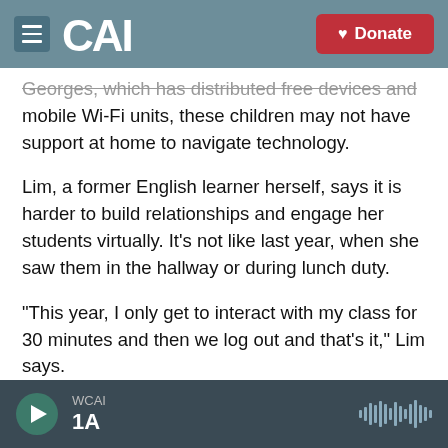CAI | WCAI — Donate
Georges, which has distributed free devices and mobile Wi-Fi units, these children may not have support at home to navigate technology.
Lim, a former English learner herself, says it is harder to build relationships and engage her students virtually. It's not like last year, when she saw them in the hallway or during lunch duty.
"This year, I only get to interact with my class for 30 minutes and then we log out and that's it," Lim says.
When children are learning another language, she
WCAI | 1A